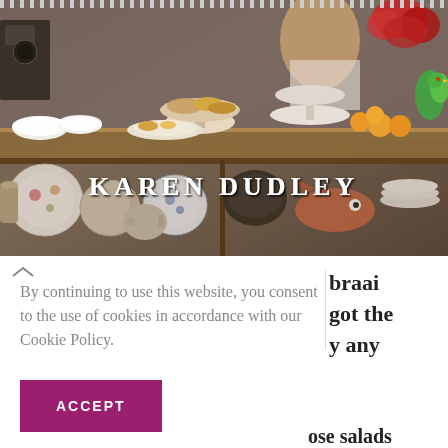[Figure (photo): A cafe or restaurant display counter showing baked goods, pastries, bowls, and kitchenware. Below the counter are shelves filled with decorative plates, teapots, jugs, and ceramic dishes in floral patterns. A person is visible working behind the counter.]
KAREN DUDLEY
By continuing to use this website, you consent to the use of cookies in accordance with our Cookie Policy.
ACCEPT
braai
got the
y any
ose salads